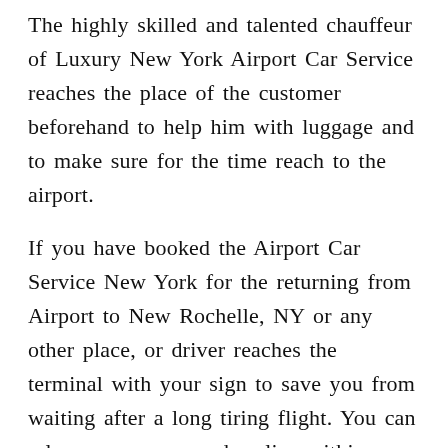The highly skilled and talented chauffeur of Luxury New York Airport Car Service reaches the place of the customer beforehand to help him with luggage and to make sure for the time reach to the airport.
If you have booked the Airport Car Service New York for the returning from Airport to New Rochelle, NY or any other place, or driver reaches the terminal with your sign to save you from waiting after a long tiring flight. You can relax your senses and recline within our Limousine Service exquisite and alluring ambience of the car after the day-long tedious trip.
If you are coming to New Rochelle, NY to attend the corporate meetings or business transactions, we at New York Airport Limo Service yield you the most